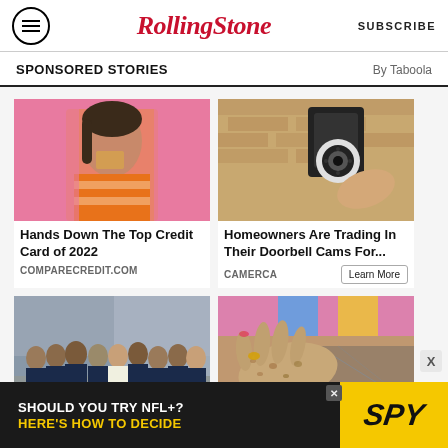RollingStone — SUBSCRIBE
SPONSORED STORIES — By Taboola
[Figure (photo): Young woman in orange striped top against pink background, holding a credit card near her face]
Hands Down The Top Credit Card of 2022
COMPARECREDIT.COM
[Figure (photo): Security camera mounted on a tan brick wall in a lantern-style housing]
Homeowners Are Trading In Their Doorbell Cams For...
CAMERCA
[Figure (photo): Group of people in dark blue company t-shirts standing together in an urban setting]
[Figure (photo): Close-up of elderly hands with age spots, holding something colorful]
[Figure (advertisement): Ad banner: SHOULD YOU TRY NFL+? HERE'S HOW TO DECIDE — SPY logo on yellow background]